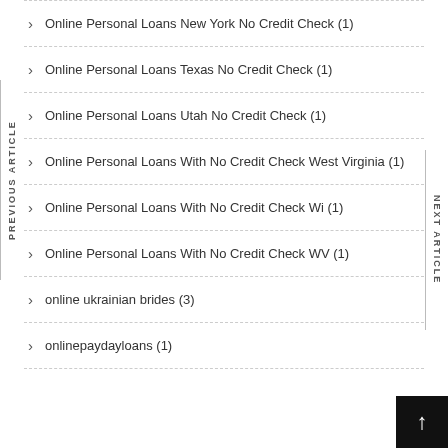Online Personal Loans New York No Credit Check (1)
Online Personal Loans Texas No Credit Check (1)
Online Personal Loans Utah No Credit Check (1)
Online Personal Loans With No Credit Check West Virginia (1)
Online Personal Loans With No Credit Check Wi (1)
Online Personal Loans With No Credit Check WV (1)
online ukrainian brides (3)
onlinepaydayloans (1)